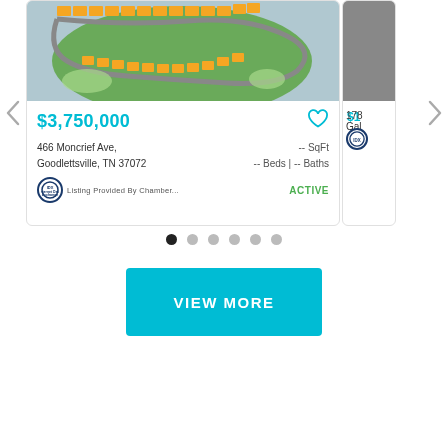[Figure (screenshot): Real estate listing card showing aerial subdivision map image, price $3,750,000, address 466 Moncrief Ave, Goodlettsville, TN 37072, SqFt --, Beds -- | Baths --, listing provided by Chamber..., ACTIVE status, with heart/favorite icon. Partial second card visible on right. Navigation arrows on left and right.]
[Figure (other): Carousel pagination dots: 6 dots, first one filled black, others grey]
VIEW MORE